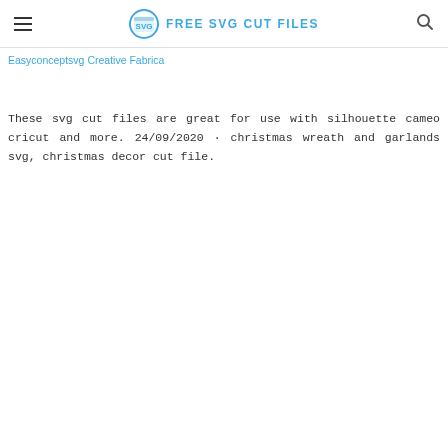FREE SVG CUT FILES
Easyconceptsvg Creative Fabrica
These svg cut files are great for use with silhouette cameo cricut and more. 24/09/2020 · christmas wreath and garlands svg, christmas decor cut file.